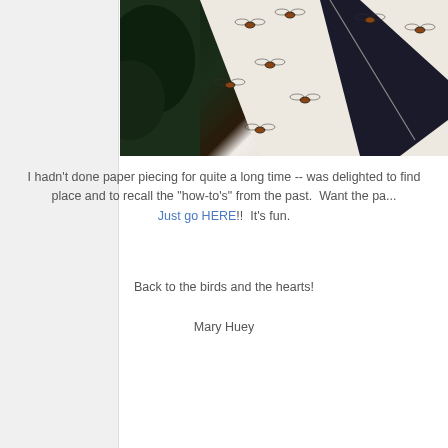[Figure (photo): Dark photograph showing fabric or paper piecing with insect/fly patterns on white fabric, surrounded by dark green foliage background]
I hadn't done paper piecing for quite a long time -- was delighted to find my place and to recall the "how-to's" from the past.  Want the pa... Just go HERE!!  It's fun.
Back to the birds and the hearts!
Mary Huey